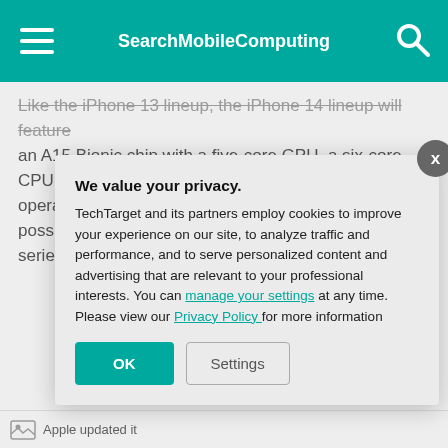SearchMobileComputing
Like the iPhone 13 lineup, the iPhone 14 lineup will feature an A15 Bionic chip with a five-core GPU, a six-core CPU and a 16-core neural engine that can do 15.8 operations per second. Apple said the chip made it possible to optimize the battery on the new iPhone series.
We value your privacy. TechTarget and its partners employ cookies to improve your experience on our site, to analyze traffic and performance, and to serve personalized content and advertising that are relevant to your professional interests. You can manage your settings at any time. Please view our Privacy Policy for more information
Apple updated it